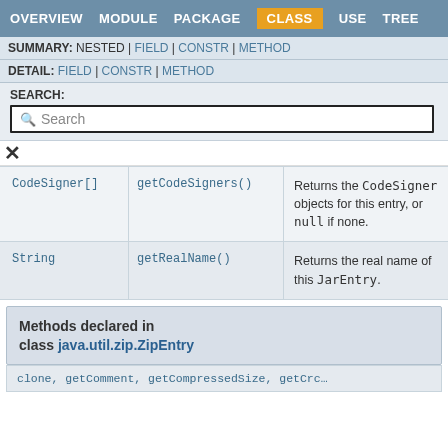OVERVIEW  MODULE  PACKAGE  CLASS  USE  TREE
SUMMARY: NESTED | FIELD | CONSTR | METHOD
DETAIL: FIELD | CONSTR | METHOD
SEARCH:
| Type | Method | Description |
| --- | --- | --- |
| CodeSigner[] | getCodeSigners() | Returns the CodeSigner objects for this entry, or null if none. |
| String | getRealName() | Returns the real name of this JarEntry. |
Methods declared in class java.util.zip.ZipEntry
clone, getComment, getCompressedSize, getCrc...